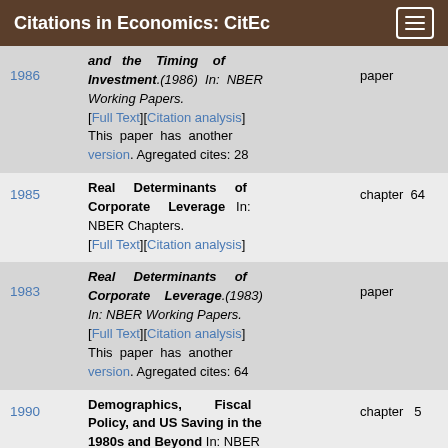Citations in Economics: CitEc
and the Timing of Investment.(1986) In: NBER Working Papers. paper [Full Text][Citation analysis] This paper has another version. Agregated cites: 28
Real Determinants of Corporate Leverage In: NBER Chapters. [Full Text][Citation analysis] chapter 64
Real Determinants of Corporate Leverage.(1983) In: NBER Working Papers. paper [Full Text][Citation analysis] This paper has another version. Agregated cites: 64
Demographics, Fiscal Policy, and US Saving in the 1980s and Beyond In: NBER chapter 5